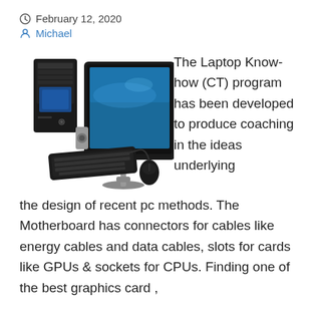February 12, 2020
Michael
[Figure (illustration): Illustration of a desktop computer setup with tower, monitor, keyboard, and mouse]
The Laptop Know-how (CT) program has been developed to produce coaching in the ideas underlying the design of recent pc methods. The Motherboard has connectors for cables like energy cables and data cables, slots for cards like GPUs & sockets for CPUs. Finding one of the best graphics card ,